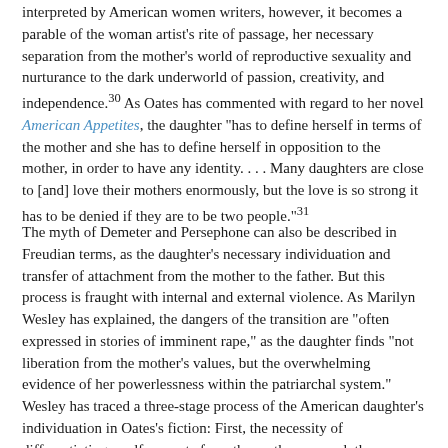interpreted by American women writers, however, it becomes a parable of the woman artist's rite of passage, her necessary separation from the mother's world of reproductive sexuality and nurturance to the dark underworld of passion, creativity, and independence.30 As Oates has commented with regard to her novel American Appetites, the daughter "has to define herself in terms of the mother and she has to define herself in opposition to the mother, in order to have any identity. . . . Many daughters are close to [and] love their mothers enormously, but the love is so strong it has to be denied if they are to be two people."31
The myth of Demeter and Persephone can also be described in Freudian terms, as the daughter's necessary individuation and transfer of attachment from the mother to the father. But this process is fraught with internal and external violence. As Marilyn Wesley has explained, the dangers of the transition are "often expressed in stories of imminent rape," as the daughter finds "not liberation from the mother's values, but the overwhelming evidence of her powerlessness within the patriarchal system." Wesley has traced a three-stage process of the American daughter's individuation in Oates's fiction: First, the necessity of differentiating a self separate from the mother; second, the consciousness of rape as a cultural condition that implies the victimization of the female; and third, the attempt to counter the threat of violence through the discovery of forms of perception such as art, literature, or education that may balance order and vitality. She sees this pattern in "Where Are You Going," especially in the ending. Although